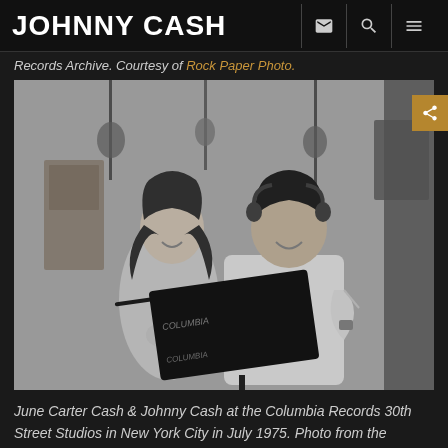JOHNNY CASH
Records Archive. Courtesy of Rock Paper Photo.
[Figure (photo): Black and white photo of June Carter Cash and Johnny Cash at the Columbia Records 30th Street Studios in New York City in July 1975. Both are standing at a Columbia Records music stand. June is laughing, holding something in her hands. Johnny is wearing headphones and a white short-sleeve shirt, smiling, with his hand on his hip.]
June Carter Cash & Johnny Cash at the Columbia Records 30th Street Studios in New York City in July 1975. Photo from the Columbia Records Archive. Courtesy of Rock Paper